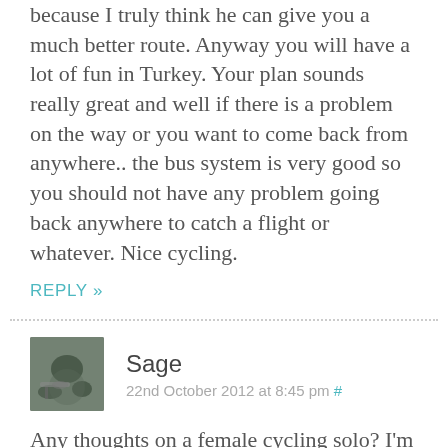because I truly think he can give you a much better route. Anyway you will have a lot of fun in Turkey. Your plan sounds really great and well if there is a problem on the way or you want to come back from anywhere.. the bus system is very good so you should not have any problem going back anywhere to catch a flight or whatever. Nice cycling.
REPLY »
Sage
22nd October 2012 at 8:45 pm #
Any thoughts on a female cycling solo? I'm in Macedonia right now and heading east! Love the idea of camping at a petrol station but being surrounded by only men when I'm alone does not sound amazing. Thanks for the great write up!!!